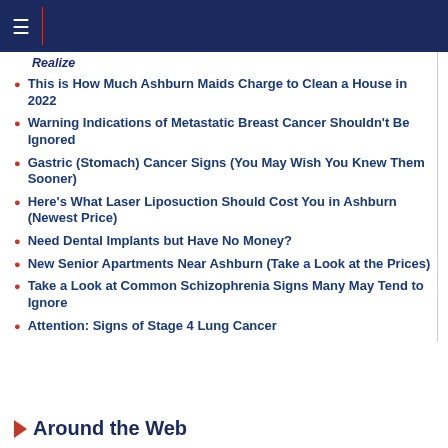Navigation bar with hamburger menu
Realize
This is How Much Ashburn Maids Charge to Clean a House in 2022
Warning Indications of Metastatic Breast Cancer Shouldn't Be Ignored
Gastric (Stomach) Cancer Signs (You May Wish You Knew Them Sooner)
Here's What Laser Liposuction Should Cost You in Ashburn (Newest Price)
Need Dental Implants but Have No Money?
New Senior Apartments Near Ashburn (Take a Look at the Prices)
Take a Look at Common Schizophrenia Signs Many May Tend to Ignore
Attention: Signs of Stage 4 Lung Cancer
Around the Web